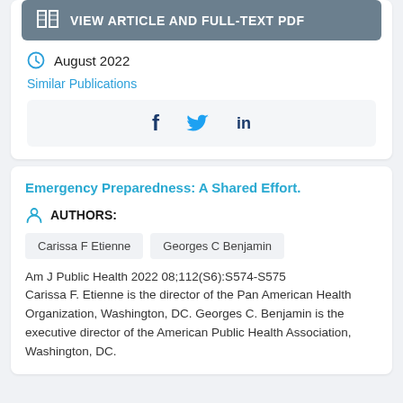[Figure (other): View Article and Full-Text PDF button with book icon]
August 2022
Similar Publications
[Figure (other): Social media sharing icons: Facebook, Twitter, LinkedIn]
Emergency Preparedness: A Shared Effort.
AUTHORS:
Carissa F Etienne
Georges C Benjamin
Am J Public Health 2022 08;112(S6):S574-S575 Carissa F. Etienne is the director of the Pan American Health Organization, Washington, DC. Georges C. Benjamin is the executive director of the American Public Health Association, Washington, DC.